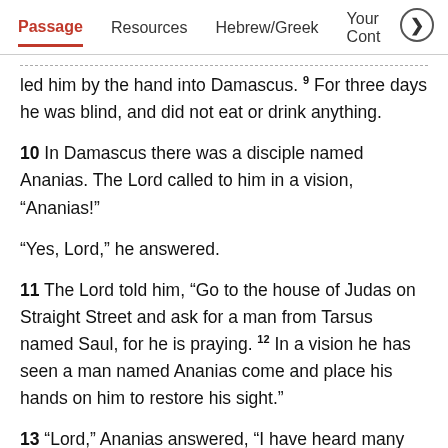Passage   Resources   Hebrew/Greek   Your Cont >
led him by the hand into Damascus. 9 For three days he was blind, and did not eat or drink anything.
10 In Damascus there was a disciple named Ananias. The Lord called to him in a vision, “Ananias!”
“Yes, Lord,” he answered.
11 The Lord told him, “Go to the house of Judas on Straight Street and ask for a man from Tarsus named Saul, for he is praying. 12 In a vision he has seen a man named Ananias come and place his hands on him to restore his sight.”
13 “Lord,” Ananias answered, “I have heard many